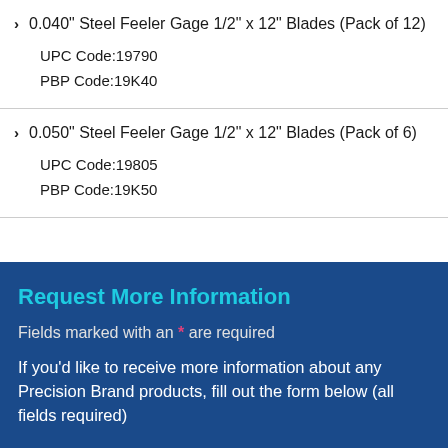0.040" Steel Feeler Gage 1/2" x 12" Blades (Pack of 12)
UPC Code:19790
PBP Code:19K40
0.050" Steel Feeler Gage 1/2" x 12" Blades (Pack of 6)
UPC Code:19805
PBP Code:19K50
Request More Information
Fields marked with an * are required
If you'd like to receive more information about any Precision Brand products, fill out the form below (all fields required)